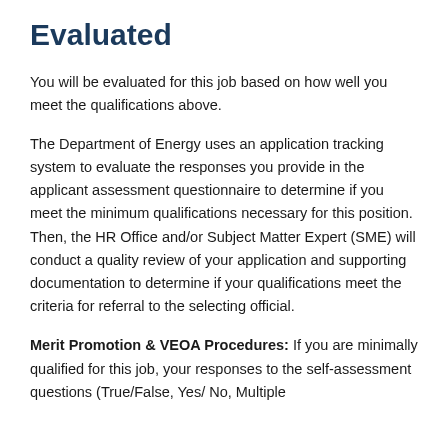Evaluated
You will be evaluated for this job based on how well you meet the qualifications above.
The Department of Energy uses an application tracking system to evaluate the responses you provide in the applicant assessment questionnaire to determine if you meet the minimum qualifications necessary for this position. Then, the HR Office and/or Subject Matter Expert (SME) will conduct a quality review of your application and supporting documentation to determine if your qualifications meet the criteria for referral to the selecting official.
Merit Promotion & VEOA Procedures: If you are minimally qualified for this job, your responses to the self-assessment questions (True/False, Yes/ No, Multiple